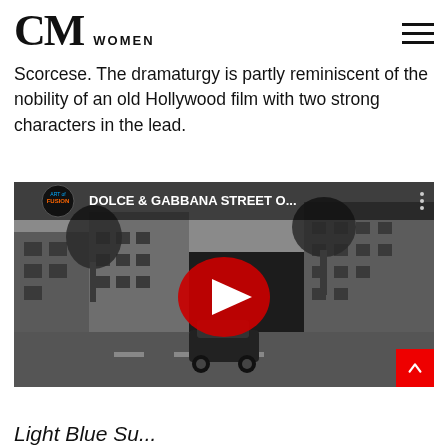CM WOMEN
Scorcese. The dramaturgy is partly reminiscent of the nobility of an old Hollywood film with two strong characters in the lead.
[Figure (screenshot): YouTube video embed showing a black and white street scene with a car, titled 'DOLCE & GABBANA STREET O...' with a red play button overlay and channel logo 'ART of FUSION']
Light Blue Su...